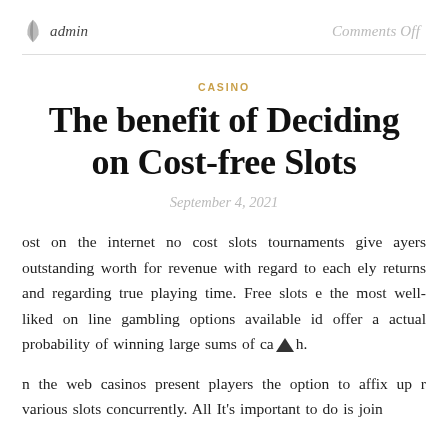admin    Comments Off
CASINO
The benefit of Deciding on Cost-free Slots
September 4, 2021
ost on the internet no cost slots tournaments give ayers outstanding worth for revenue with regard to each ely returns and regarding true playing time. Free slots e the most well-liked on line gambling options available id offer a actual probability of winning large sums of cash.
n the web casinos present players the option to affix up r various slots concurrently. All It's important to do is join